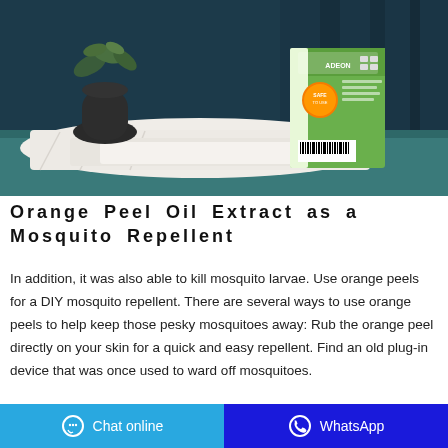[Figure (photo): Product photo of Orange Peel Oil mosquito repellent box with green packaging, placed on white cloth on a teal surface with a dark vase and plant in the background against a dark blue curtain]
Orange Peel Oil Extract as a Mosquito Repellent
In addition, it was also able to kill mosquito larvae. Use orange peels for a DIY mosquito repellent. There are several ways to use orange peels to help keep those pesky mosquitoes away: Rub the orange peel directly on your skin for a quick and easy repellent. Find an old plug-in device that was once used to ward off mosquitoes.
Chat online | WhatsApp